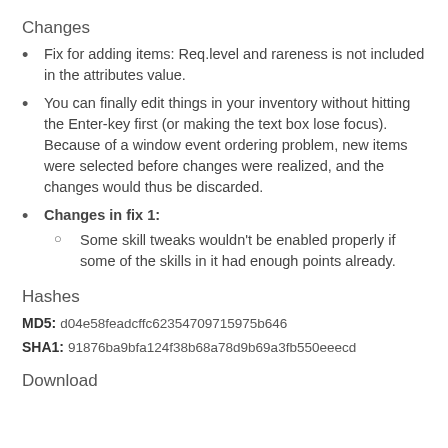Changes
Fix for adding items: Req.level and rareness is not included in the attributes value.
You can finally edit things in your inventory without hitting the Enter-key first (or making the text box lose focus). Because of a window event ordering problem, new items were selected before changes were realized, and the changes would thus be discarded.
Changes in fix 1:
Some skill tweaks wouldn't be enabled properly if some of the skills in it had enough points already.
Hashes
MD5: d04e58feadcffc62354709715975b646
SHA1: 91876ba9bfa124f38b68a78d9b69a3fb550eeecd
Download